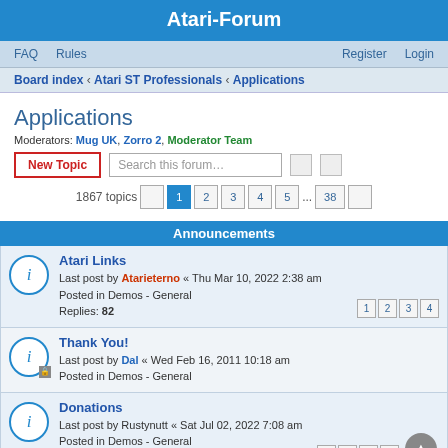Atari-Forum
FAQ  Rules  Register  Login
Board index › Atari ST Professionals › Applications
Applications
Moderators: Mug UK, Zorro 2, Moderator Team
New Topic  Search this forum…
1867 topics  1 2 3 4 5 … 38
Announcements
Atari Links
Last post by Atarieterno « Thu Mar 10, 2022 2:38 am
Posted in Demos - General
Replies: 82
Thank You!
Last post by Dal « Wed Feb 16, 2011 10:18 am
Posted in Demos - General
Donations
Last post by Rustynutt « Sat Jul 02, 2022 7:08 am
Posted in Demos - General
Replies: 96